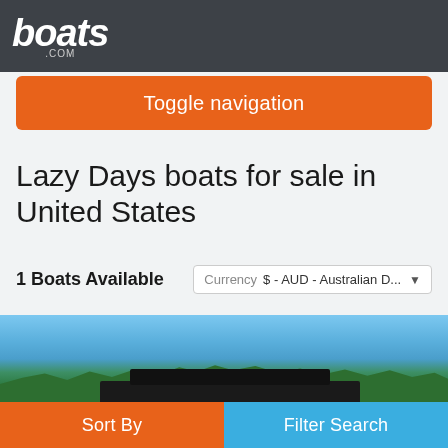boats.com
Toggle navigation
Lazy Days boats for sale in United States
1 Boats Available   Currency  $ - AUD - Australian D...
[Figure (photo): Boat listing photo showing a boat or covered structure on water with trees in background, blue sky. Photo count badge shows 61, video count badge shows 1.]
Sort By   Filter Search